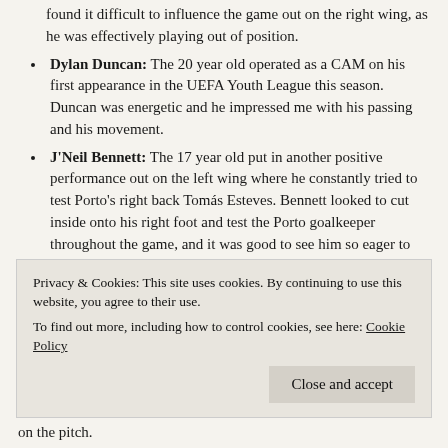found it difficult to influence the game out on the right wing, as he was effectively playing out of position.
Dylan Duncan: The 20 year old operated as a CAM on his first appearance in the UEFA Youth League this season. Duncan was energetic and he impressed me with his passing and his movement.
J'Neil Bennett: The 17 year old put in another positive performance out on the left wing where he constantly tried to test Porto's right back Tomás Esteves. Bennett looked to cut inside onto his right foot and test the Porto goalkeeper throughout the game, and it was good to see him so eager to try and make things happen. Bennett came so close to giving Spurs the lead on the stroke of halftime.
Dilan Markanday: I thought that the second year scholar did as well as he could do in the unnatural position of CF against
Privacy & Cookies: This site uses cookies. By continuing to use this website, you agree to their use.
To find out more, including how to control cookies, see here: Cookie Policy
on the pitch.